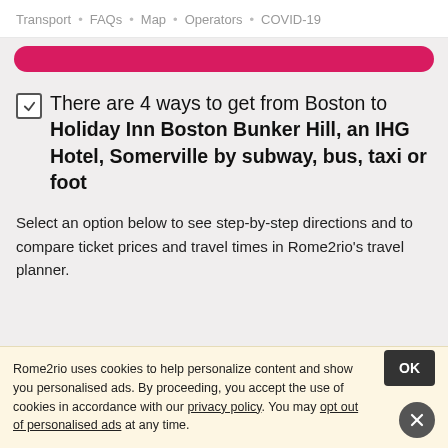Transport · FAQs · Map · Operators · COVID-19
There are 4 ways to get from Boston to Holiday Inn Boston Bunker Hill, an IHG Hotel, Somerville by subway, bus, taxi or foot
Select an option below to see step-by-step directions and to compare ticket prices and travel times in Rome2rio's travel planner.
Rome2rio uses cookies to help personalize content and show you personalised ads. By proceeding, you accept the use of cookies in accordance with our privacy policy. You may opt out of personalised ads at any time.